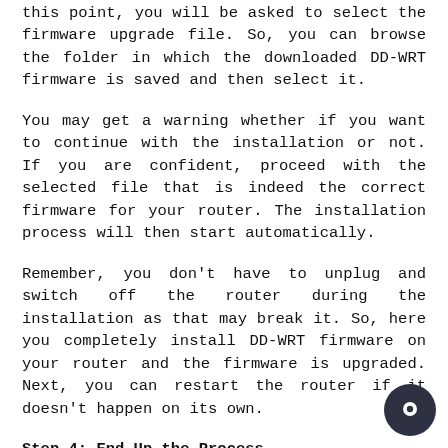this point, you will be asked to select the firmware upgrade file. So, you can browse the folder in which the downloaded DD-WRT firmware is saved and then select it.
You may get a warning whether if you want to continue with the installation or not. If you are confident, proceed with the selected file that is indeed the correct firmware for your router. The installation process will then start automatically.
Remember, you don't have to unplug and switch off the router during the installation as that may break it. So, here you completely install DD-WRT firmware on your router and the firmware is upgraded. Next, you can restart the router if it doesn't happen on its own.
Step 4: End Up the Process